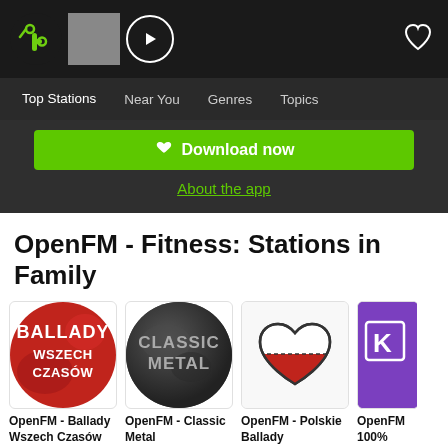TuneIn navigation bar with logo, play button, and heart icon
Top Stations   Near You   Genres   Topics
Download now
About the app
OpenFM - Fitness: Stations in Family
[Figure (other): OpenFM Ballady Wszech Czasów station logo - red circle with white bold text BALLADY WSZECH CZASÓW]
OpenFM - Ballady Wszech Czasów
[Figure (other): OpenFM Classic Metal station logo - dark grey textured circle with CLASSIC METAL text]
OpenFM - Classic Metal
[Figure (other): OpenFM Polskie Ballady station logo - white heart shape with Polish flag colors red and white]
OpenFM - Polskie Ballady
[Figure (other): OpenFM station logo partially visible - purple background with white text/icon, partially cropped]
OpenFM 100%